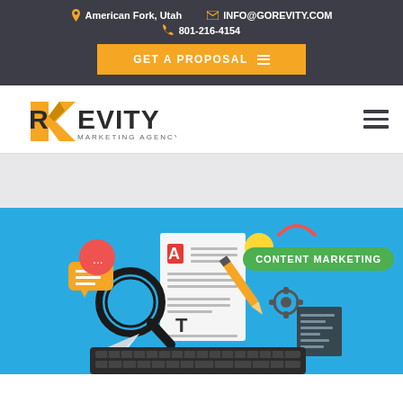American Fork, Utah   INFO@GOREVITY.COM   801-216-4154
GET A PROPOSAL
[Figure (logo): Revity Marketing Agency logo with orange R arrow icon and bold text]
[Figure (illustration): Content marketing illustration on blue background showing documents, magnifying glass, pencil, keyboard, speech bubble, gears, and 'CONTENT MARKETING' green label badge]